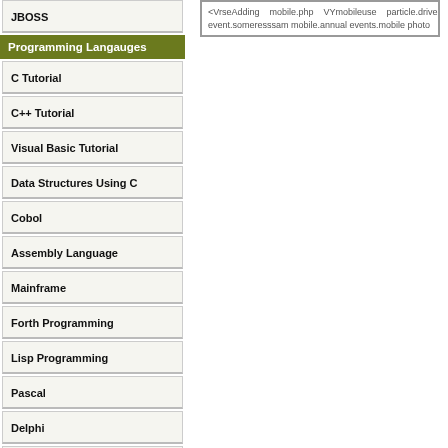JBOSS
Programming Langauges
C Tutorial
C++ Tutorial
Visual Basic Tutorial
Data Structures Using C
Cobol
Assembly Language
Mainframe
Forth Programming
Lisp Programming
Pascal
Delphi
Fortran
OOPs
Data Warehousing
CGI Programming
Emacs Tutorial
Gnome
ILU
<VrseAdding   mobile.php   VYmobileuse   particle.drive event.someresssam mobile.annual events.mobile photo